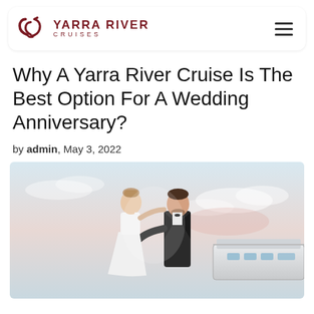YARRA RIVER CRUISES
Why A Yarra River Cruise Is The Best Option For A Wedding Anniversary?
by admin, May 3, 2022
[Figure (photo): A bride and groom in formal attire standing closely together on what appears to be a boat deck, with a soft sky background and cruise vessel visible behind them.]